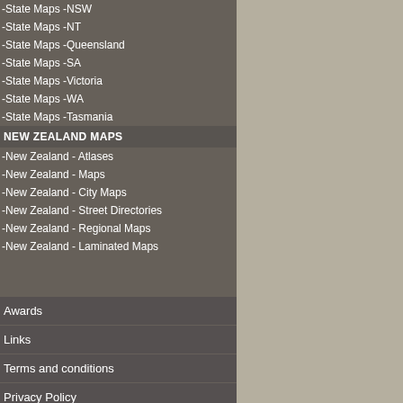-State Maps -NSW
-State Maps -NT
-State Maps -Queensland
-State Maps -SA
-State Maps -Victoria
-State Maps -WA
-State Maps -Tasmania
NEW ZEALAND MAPS
-New Zealand - Atlases
-New Zealand - Maps
-New Zealand - City Maps
-New Zealand - Street Directories
-New Zealand - Regional Maps
-New Zealand - Laminated Maps
Awards
Links
Terms and conditions
Privacy Policy
Information Request/Contact